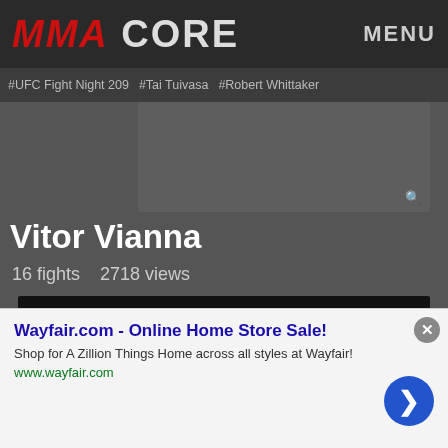MMA CORE   MENU
#UFC Fight Night 209   #Tai Tuivasa   #Robert Whittaker
[Figure (other): Gray search/ad box area]
Vitor Vianna
16 fights   2718 views
[Figure (photo): Fighter profile photo area - dark background with silhouette, Login to update photo button overlay, infolinks badge]
[Figure (other): Advertisement overlay: Wayfair.com - Online Home Store Sale! Shop for A Zillion Things Home across all styles at Wayfair! www.wayfair.com with close button and arrow button]